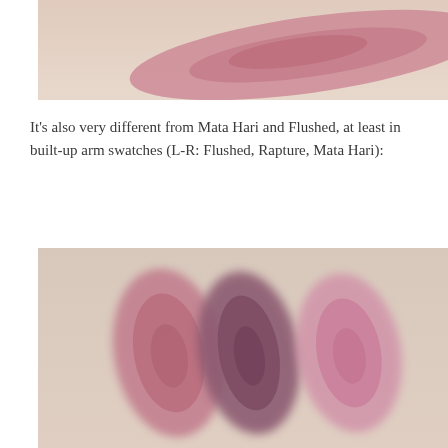[Figure (photo): Close-up photo of a single pink/rose blush swatch on pale skin, partially cropped at top]
It's also very different from Mata Hari and Flushed, at least in built-up arm swatches (L-R: Flushed, Rapture, Mata Hari):
[Figure (photo): Photo of three built-up blush swatches on pale arm skin, left to right: Flushed (muted rose-pink), Rapture (dark mauve-plum), Mata Hari (bright pink-rose)]